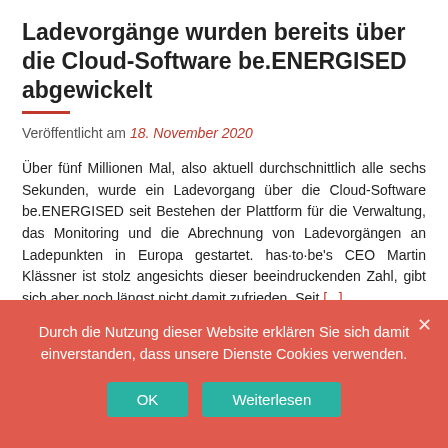Ladevorgänge wurden bereits über die Cloud-Software be.ENERGISED abgewickelt
Veröffentlicht am 18. November 2020
Über fünf Millionen Mal, also aktuell durchschnittlich alle sechs Sekunden, wurde ein Ladevorgang über die Cloud-Software be.ENERGISED seit Bestehen der Plattform für die Verwaltung, das Monitoring und die Abrechnung von Ladevorgängen an Ladepunkten in Europa gestartet. has·to·be's CEO Martin Klässner ist stolz angesichts dieser beeindruckenden Zahl, gibt sich aber noch längst nicht damit zufrieden. Seit [...]
Veröffentlicht in Software   Markiert mit beenergised, cloud, Fahrzeuge, hastobe, ionity, klässner, kwh, ladeinfrastruktur, ladestationen, roaming, software, strom,
Durch die Nutzung dieser Website erklären Sie sich damit einverstanden, dass unsere Dienste Cookies verwenden.